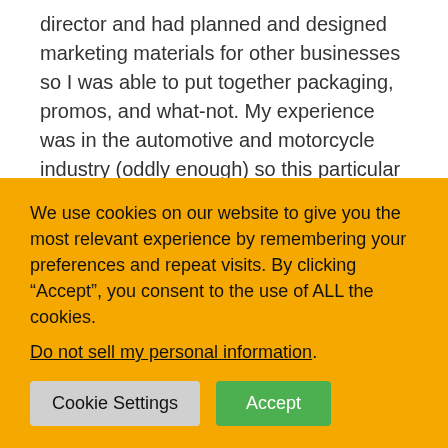director and had planned and designed marketing materials for other businesses so I was able to put together packaging, promos, and what-not. My experience was in the automotive and motorcycle industry (oddly enough) so this particular industry was new territory for me. I have MANY friends of a variety of expertise that I am eternally grateful to.

Since I had a web presence with the “golf ball massage” before the SPABALL™ was manufactured my information popped up on the radar of the producer of the CBS show “The Doctors”. They were doing a segment on “unusual massage
We use cookies on our website to give you the most relevant experience by remembering your preferences and repeat visits. By clicking “Accept”, you consent to the use of ALL the cookies.
Do not sell my personal information.